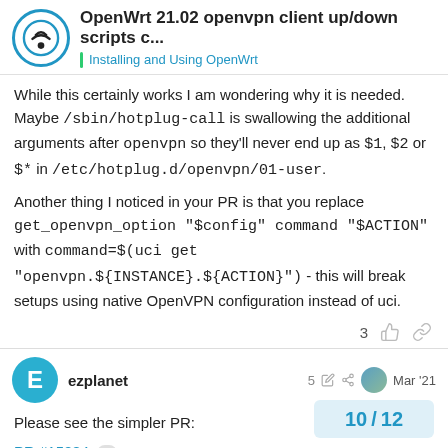OpenWrt 21.02 openvpn client up/down scripts c... | Installing and Using OpenWrt
While this certainly works I am wondering why it is needed. Maybe /sbin/hotplug-call is swallowing the additional arguments after openvpn so they'll never end up as $1, $2 or $* in /etc/hotplug.d/openvpn/01-user.
Another thing I noticed in your PR is that you replace get_openvpn_option "$config" command "$ACTION" with command=$(uci get "openvpn.${INSTANCE}.${ACTION}") - this will break setups using native OpenVPN configuration instead of uci.
3 [like] [link]
ezplanet  5 [edit] [share]  Mar '21
Please see the simpler PR:
PR #15284  3
10 / 12